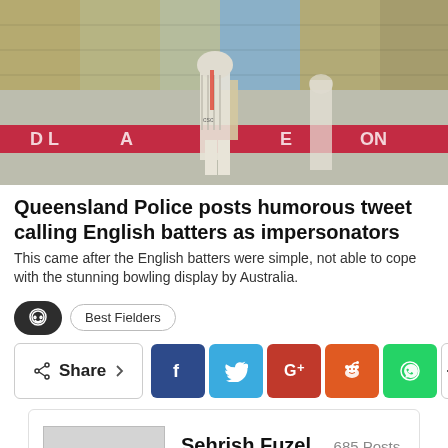[Figure (photo): Cricket match photo showing English batters at the crease with stadium seating in the background]
Queensland Police posts humorous tweet calling English batters as impersonators
This came after the English batters were simple, not able to cope with the stunning bowling display by Australia.
Best Fielders
Share — Facebook, Twitter, Google+, Reddit, WhatsApp, More
Sehrish Fuzel — 685 Posts
News writer at DailyIndiaNews.com